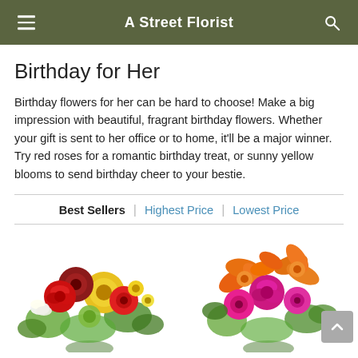A Street Florist
Birthday for Her
Birthday flowers for her can be hard to choose! Make a big impression with beautiful, fragrant birthday flowers. Whether your gift is sent to her office or to home, it'll be a major winner. Try red roses for a romantic birthday treat, or sunny yellow blooms to send birthday cheer to your bestie.
Best Sellers | Highest Price | Lowest Price
[Figure (photo): Two flower bouquet photos side by side: left is a colorful mixed bouquet with red roses, yellow chrysanthemums, green flowers, white alstroemeria; right is a bright bouquet with orange lilies, pink roses, and pink gerbera daisies.]